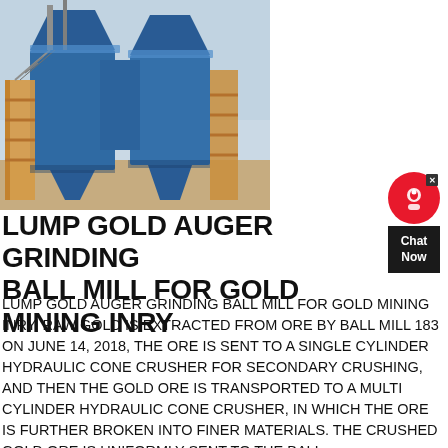[Figure (photo): Industrial mining equipment — large blue hopper/crusher structure with yellow scaffolding and stairs, photographed outdoors against a hazy sky.]
LUMP GOLD AUGER GRINDING BALL MILL FOR GOLD MINING INRY
LUMP GOLD AUGER GRINDING BALL MILL FOR GOLD MINING INRY. RAW GOLD IS EXTRACTED FROM ORE BY BALL MILL 183 ON JUNE 14, 2018, THE ORE IS SENT TO A SINGLE CYLINDER HYDRAULIC CONE CRUSHER FOR SECONDARY CRUSHING, AND THEN THE GOLD ORE IS TRANSPORTED TO A MULTI CYLINDER HYDRAULIC CONE CRUSHER, IN WHICH THE ORE IS FURTHER BROKEN INTO FINER MATERIALS. THE CRUSHED GOLD ORE IS UNIFORMLY SENT TO THE BALL